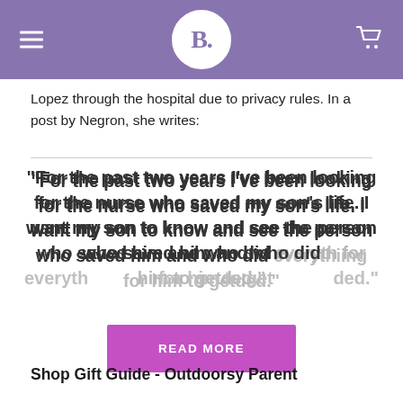B.
Lopez through the hospital due to privacy rules. In a post by Negron, she writes:
"For the past two years I've been looking for the nurse who saved my son's life. I want my son to know and see the person who saved him and who did everything [needed] for him to get [what he needed]."
Shop Gift Guide - Outdoorsy Parent